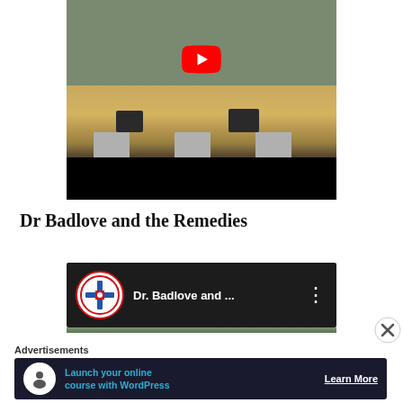[Figure (screenshot): YouTube video thumbnail showing a band performing on a wooden stage with speakers and equipment, with a red YouTube play button overlay, and a black bar at the bottom]
Dr Badlove and the Remedies
[Figure (screenshot): YouTube video player interface with dark background showing channel icon (circular badge with cross design), title 'Dr. Badlove and ...' and three-dot menu on right]
Advertisements
[Figure (infographic): Advertisement banner with dark navy background, circular white icon with person/tree silhouette, teal text 'Launch your online course with WordPress', and 'Learn More' button]